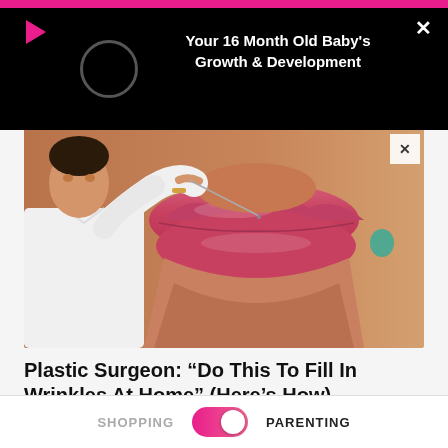[Figure (screenshot): Black overlay ad bar at top of screen with pink top border. Contains a play button arrow icon (pink/red), a circular loading indicator, white bold text reading 'Your 16 Month Old Baby's Growth & Development', and a white X close button.]
[Figure (photo): Advertisement image showing a man in a white shirt (plastic surgeon) injecting a needle into a close-up of a woman's lips and lower face area.]
Plastic Surgeon: “Do This To Fill In Wrinkles At Home” (Here’s How)
Beverly Hills MD | Sponsored
SHOPPING   PARENTING